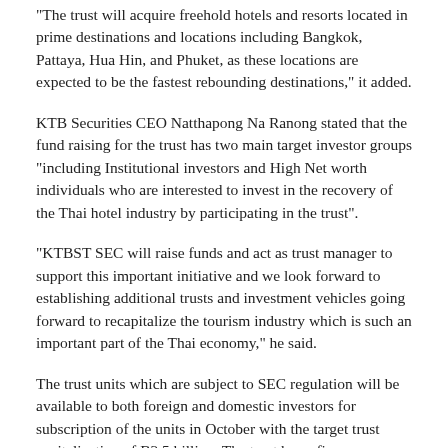“The trust will acquire freehold hotels and resorts located in prime destinations and locations including Bangkok, Pattaya, Hua Hin, and Phuket, as these locations are expected to be the fastest rebounding destinations,” it added.
KTB Securities CEO Natthapong Na Ranong stated that the fund raising for the trust has two main target investor groups “including Institutional investors and High Net worth individuals who are interested to invest in the recovery of the Thai hotel industry by participating in the trust”.
“KTBST SEC will raise funds and act as trust manager to support this important initiative and we look forward to establishing additional trusts and investment vehicles going forward to recapitalize the tourism industry which is such an important part of the Thai economy,” he said.
The trust units which are subject to SEC regulation will be available to both foreign and domestic investors for subscription of the units in October with the target trust capitalization of B2.5 billion. The trust has a five-year investment period extendable subject to market conditions by two years targeting annual returns of up to 15%.